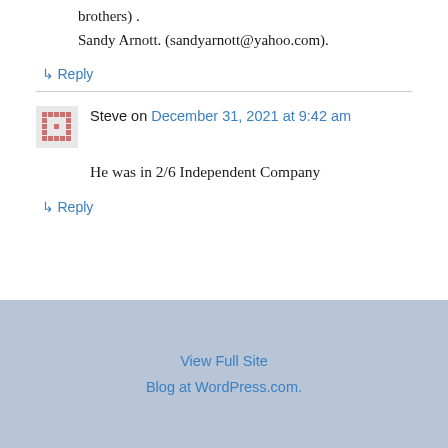brothers) .
Sandy Arnott. (sandyarnott@yahoo.com).
↳ Reply
Steve on December 31, 2021 at 9:42 am
He was in 2/6 Independent Company
↳ Reply
View Full Site
Blog at WordPress.com.